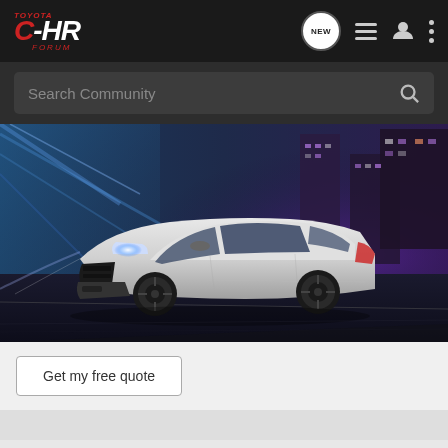TOYOTA C-HR FORUM
Search Community
[Figure (photo): White Toyota Corolla/C-HR sedan driving on a city road at night with blue and purple city lights in the background]
Get my free quote